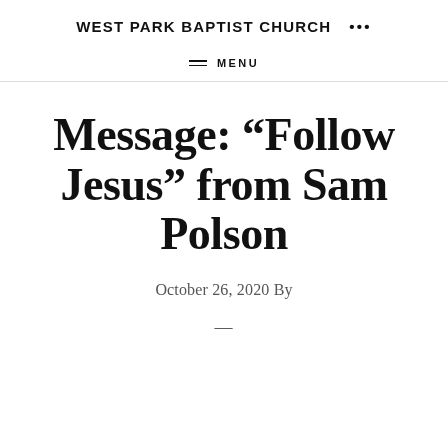WEST PARK BAPTIST CHURCH   •••
MENU
Message: “Follow Jesus” from Sam Polson
October 26, 2020 By
—